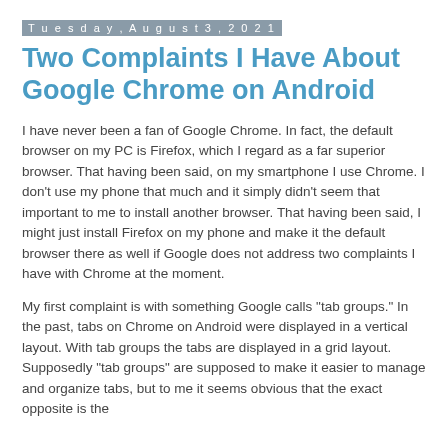Tuesday, August 3, 2021
Two Complaints I Have About Google Chrome on Android
I have never been a fan of Google Chrome. In fact, the default browser on my PC is Firefox, which I regard as a far superior browser. That having been said, on my smartphone I use Chrome. I don't use my phone that much and it simply didn't seem that important to me to install another browser. That having been said, I might just install Firefox on my phone and make it the default browser there as well if Google does not address two complaints I have with Chrome at the moment.
My first complaint is with something Google calls "tab groups." In the past, tabs on Chrome on Android were displayed in a vertical layout. With tab groups the tabs are displayed in a grid layout. Supposedly "tab groups" are supposed to make it easier to manage and organize tabs, but to me it seems obvious that the exact opposite is the